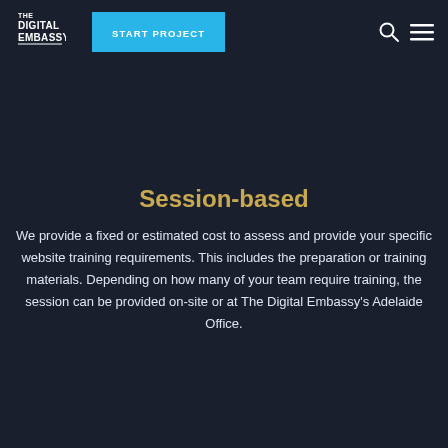THE DIGITAL EMBASSY | START PROJECT
Session-based
We provide a fixed or estimated cost to assess and provide your specific website training requirements. This includes the preparation or training materials. Depending on how many of your team require training, the session can be provided on-site or at The Digital Embassy's Adelaide Office.